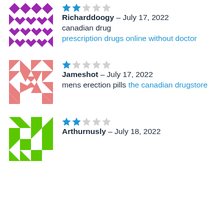[Figure (illustration): Purple geometric pattern avatar for user Richarddoogy]
★★☆☆☆ (2 stars) Richarddoogy – July 17, 2022
canadian drug
prescription drugs online without doctor
[Figure (illustration): Salmon/pink geometric pattern avatar for user Jameshot]
★☆☆☆☆ (1 star) Jameshot – July 17, 2022
mens erection pills the canadian drugstore
[Figure (illustration): Green geometric pattern avatar for user Arthurnusly]
★★☆☆☆ (2 stars) Arthurnusly – July 18, 2022